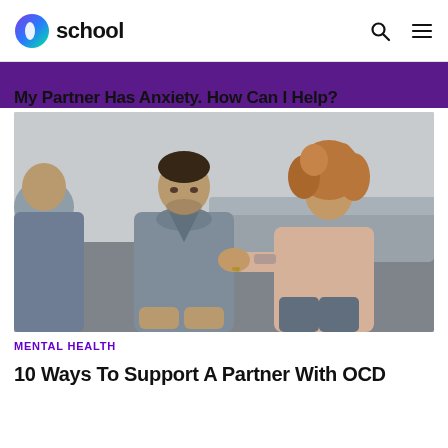school
[Figure (photo): A man in a grey sweater sitting hunched over with a woman placing a comforting hand on his arm, in what appears to be a therapy or counseling setting with a third person partially visible in the foreground.]
My Partner Has Anxiety. How Can I Help?
MENTAL HEALTH
10 Ways To Support A Partner With OCD